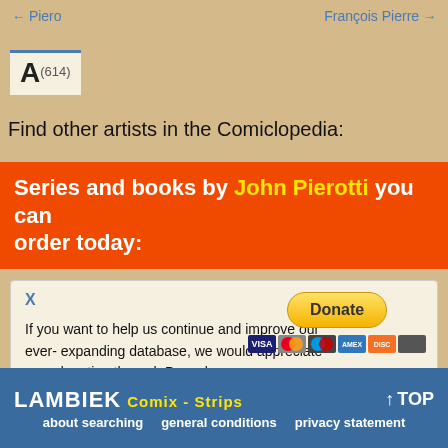← Piero    François Pierre →
A(614)
Find other artists in the Comiclopedia:
Series and books by John Pierotti you can order today:
X
If you want to help us continue and improve our ever- expanding database, we would appreciate your donation through Paypal.
LAMBIEK COMIX - STRIPS   ↑ TOP   about searching   general conditions   privacy statement